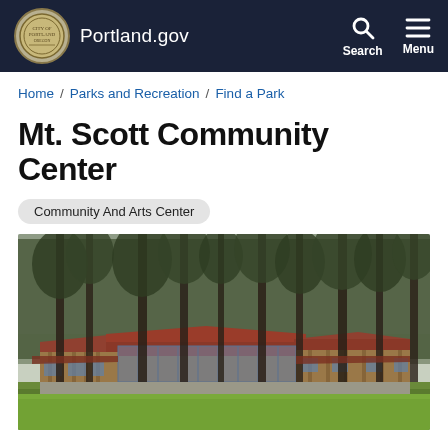Portland.gov
Home / Parks and Recreation / Find a Park
Mt. Scott Community Center
Community And Arts Center
[Figure (photo): Exterior photograph of Mt. Scott Community Center building surrounded by tall evergreen trees, showing a low modern structure with a reddish-brown roof and wood siding, set on a green lawn]